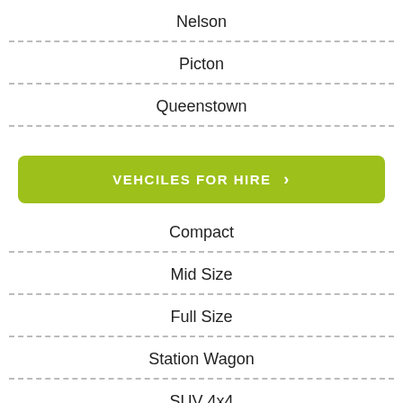Nelson
Picton
Queenstown
VEHCILES FOR HIRE
Compact
Mid Size
Full Size
Station Wagon
SUV 4x4